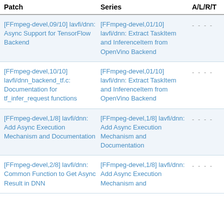| Patch | Series | A/L/R/T | S/W/ |
| --- | --- | --- | --- |
| [FFmpeg-devel,09/10] lavfi/dnn: Async Support for TensorFlow Backend | [FFmpeg-devel,01/10] lavfi/dnn: Extract TaskItem and InferenceItem from OpenVino Backend | - - - - | 4 - |
| [FFmpeg-devel,10/10] lavfi/dnn_backend_tf.c: Documentation for tf_infer_request functions | [FFmpeg-devel,01/10] lavfi/dnn: Extract TaskItem and InferenceItem from OpenVino Backend | - - - - | 4 - |
| [FFmpeg-devel,1/8] lavfi/dnn: Add Async Execution Mechanism and Documentation | [FFmpeg-devel,1/8] lavfi/dnn: Add Async Execution Mechanism and Documentation | - - - - | 4 - |
| [FFmpeg-devel,2/8] lavfi/dnn: Common Function to Get Async Result in DNN ... | [FFmpeg-devel,1/8] lavfi/dnn: Add Async Execution Mechanism and ... | - - - - | 4 - |